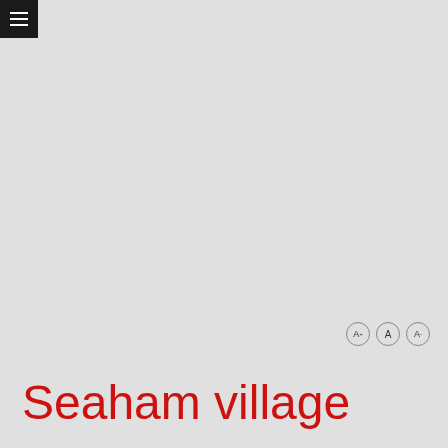[Figure (other): Hamburger menu icon — three horizontal white lines on a black square background, top-left corner]
A+ A A-
Seaham village